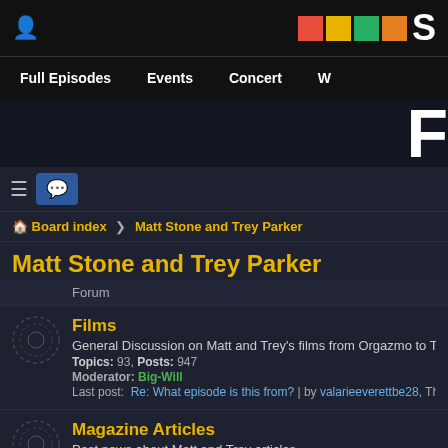Board index > Matt Stone and Trey Parker
Matt Stone and Trey Parker
Forum
Films
General Discussion on Matt and Trey's films from Orgazmo to That's Allri...
Topics: 93, Posts: 947
Moderator: Big-Will
Last post: Re: What episode is this from? | by valarieeverettbe28, Thu May 19, 2022
Magazine Articles
Post news about Matt and Trey articles
Topics: 18, Posts: 120